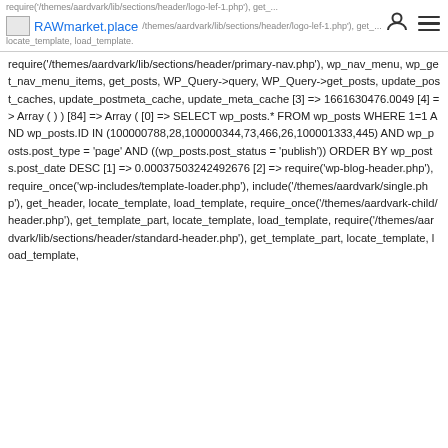RAWmarket.place — require('/themes/aardvark/lib/sections/header/logo-lef-1.php'), get_... locate_template, load_template.
require('/themes/aardvark/lib/sections/header/primary-nav.php'), wp_nav_menu, wp_get_nav_menu_items, get_posts, WP_Query->query, WP_Query->get_posts, update_post_caches, update_postmeta_cache, update_meta_cache [3] => 1661630476.0049 [4] => Array ( ) ) [84] => Array ( [0] => SELECT wp_posts.* FROM wp_posts WHERE 1=1 AND wp_posts.ID IN (100000788,28,100000344,73,466,26,100001333,445) AND wp_posts.post_type = 'page' AND ((wp_posts.post_status = 'publish')) ORDER BY wp_posts.post_date DESC [1] => 0.00037503242492676 [2] => require('wp-blog-header.php'), require_once('wp-includes/template-loader.php'), include('/themes/aardvark/single.php'), get_header, locate_template, load_template, require_once('/themes/aardvark-child/header.php'), get_template_part, locate_template, load_template, require('/themes/aardvark/lib/sections/header/standard-header.php'), get_template_part, locate_template, load_template,